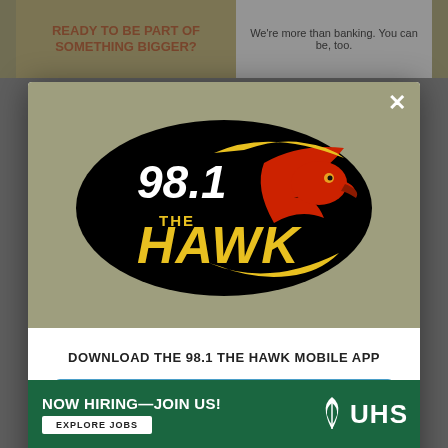[Figure (logo): 98.1 The Hawk radio station logo — black oval with hawk illustration and yellow/white text]
DOWNLOAD THE 98.1 THE HAWK MOBILE APP
GET OUR FREE MOBILE APP
Also listen on: amazon alexa
[Figure (infographic): Bottom green banner advertisement: NOW HIRING—JOIN US! EXPLORE JOBS | UHS logo]